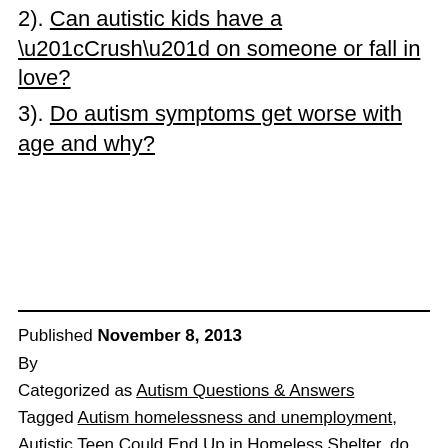2). Can autistic kids have a “Crush” on someone or fall in love?
3). Do autism symptoms get worse with age and why?
Published November 8, 2013
By
Categorized as Autism Questions & Answers
Tagged Autism homelessness and unemployment, Autistic Teen Could End Up in Homeless Shelter, do most homeless people have mental illness, homeless and